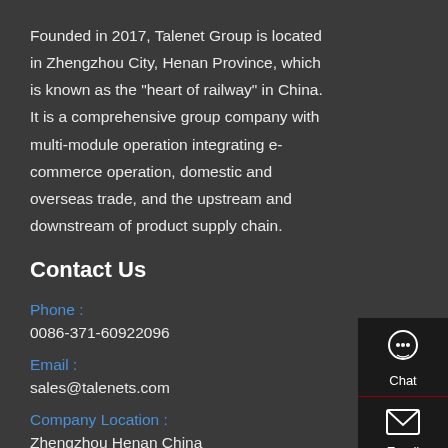Founded in 2017, Talenet Group is located in Zhengzhou City, Henan Province, which is known as the "heart of railway" in China. It is a comprehensive group company with multi-module operation integrating e-commerce operation, domestic and overseas trade, and the upstream and downstream of product supply chain.
Contact Us
Phone :
0086-371-60922096
Email :
sales@talenets.com
Company Location :
Zhengzhou Henan China
[Figure (infographic): Sidebar with Chat, Email, Contact, and Top navigation icons on dark background]